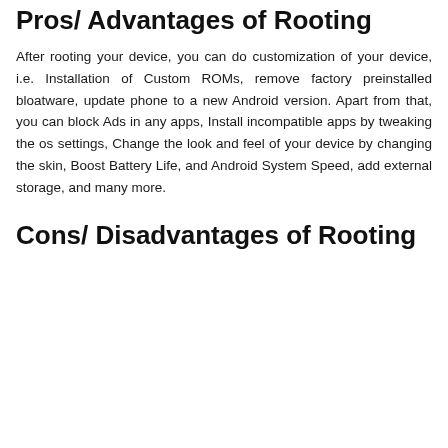Pros/ Advantages of Rooting
After rooting your device, you can do customization of your device, i.e. Installation of Custom ROMs, remove factory preinstalled bloatware, update phone to a new Android version. Apart from that, you can block Ads in any apps, Install incompatible apps by tweaking the os settings, Change the look and feel of your device by changing the skin, Boost Battery Life, and Android System Speed, add external storage, and many more.
Cons/ Disadvantages of Rooting